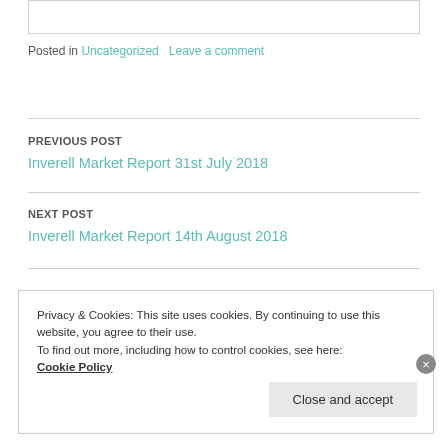Posted in Uncategorized   Leave a comment
PREVIOUS POST
Inverell Market Report 31st July 2018
NEXT POST
Inverell Market Report 14th August 2018
Privacy & Cookies: This site uses cookies. By continuing to use this website, you agree to their use. To find out more, including how to control cookies, see here: Cookie Policy
Close and accept